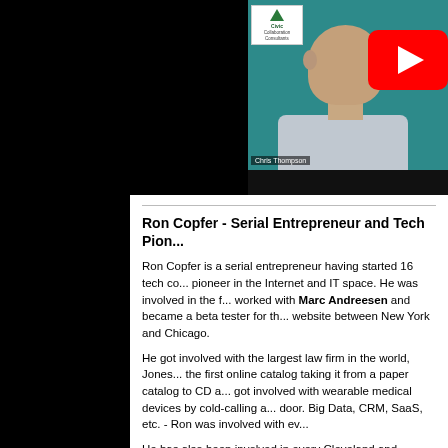[Figure (screenshot): Video screenshot showing a bald man smiling in a video call interface with teal background. A Civic Collaboration Consultants logo appears in top left of video frame, and a YouTube play button appears in top right corner. Name label 'Chris Thompson' visible. The video player has a black lower section.]
Ron Copfer - Serial Entrepreneur and Tech Pion...
Ron Copfer is a serial entrepreneur having started 16 tech co... pioneer in the Internet and IT space. He was involved in the f... worked with Marc Andreesen and became a beta tester for th... website between New York and Chicago.
He got involved with the largest law firm in the world, Jones... the first online catalog taking it from a paper catalog to CD a... got involved with wearable medical devices by cold-calling a... door. Big Data, CRM, SaaS, etc. - Ron was involved with ev...
He has also been involved in every Cleveland and Northeast ... Nortech which led to BioEnterprise and JumpStart and oth...